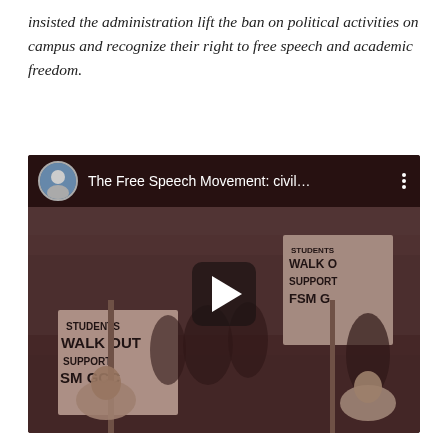insisted the administration lift the ban on political activities on campus and recognize their right to free speech and academic freedom.
[Figure (screenshot): Embedded video thumbnail showing a black-and-white/sepia photograph of a student protest march. Students carry signs reading 'STUDENTS WALK OUT SUPPORT FSM GCC'. Video title bar at top reads 'The Free Speech Movement: civil...' with a speaker avatar. A play button is centered on the image.]